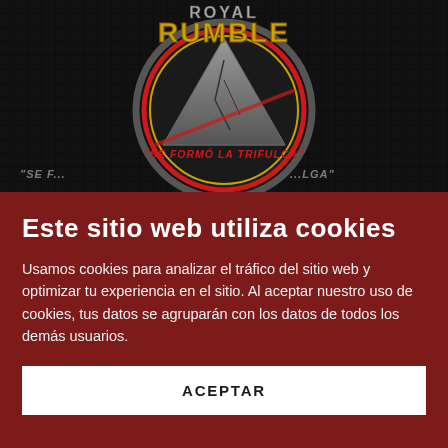[Figure (logo): Dark background with a circular wrestling/fighting event logo. Shows text 'RUMBLE' in gold/yellow stylized letters, with a red-outlined circle, a cracked stone pyramid/triangle graphic inside, and text 'SE FORMÓ LA TRIFULCA' in red italic letters. The outer ring area shows the tagline repeated partially.]
Este sitio web utiliza cookies
Usamos cookies para analizar el tráfico del sitio web y optimizar tu experiencia en el sitio. Al aceptar nuestro uso de cookies, tus datos se agruparán con los datos de todos los demás usuarios.
ACEPTAR